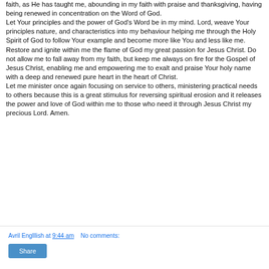faith, as He has taught me, abounding in my faith with praise and thanksgiving, having being renewed in concentration on the Word of God. Let Your principles and the power of God's Word be in my mind. Lord, weave Your principles nature, and characteristics into my behaviour helping me through the Holy Spirit of God to follow Your example and become more like You and less like me. Restore and ignite within me the flame of God my great passion for Jesus Christ. Do not allow me to fall away from my faith, but keep me always on fire for the Gospel of Jesus Christ, enabling me and empowering me to exalt and praise Your holy name with a deep and renewed pure heart in the heart of Christ. Let me minister once again focusing on service to others, ministering practical needs to others because this is a great stimulus for reversing spiritual erosion and it releases the power and love of God within me to those who need it through Jesus Christ my precious Lord. Amen.
Avril Englllish at 9:44 am   No comments: